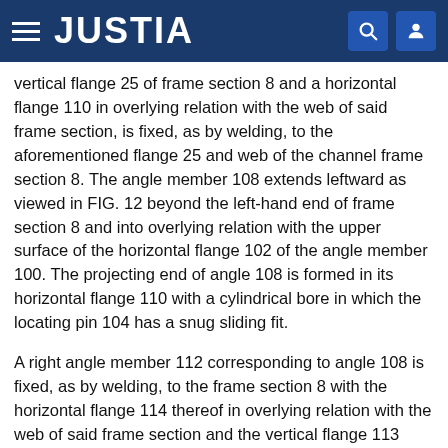JUSTIA
vertical flange 25 of frame section 8 and a horizontal flange 110 in overlying relation with the web of said frame section, is fixed, as by welding, to the aforementioned flange 25 and web of the channel frame section 8. The angle member 108 extends leftward as viewed in FIG. 12 beyond the left-hand end of frame section 8 and into overlying relation with the upper surface of the horizontal flange 102 of the angle member 100. The projecting end of angle 108 is formed in its horizontal flange 110 with a cylindrical bore in which the locating pin 104 has a snug sliding fit.
A right angle member 112 corresponding to angle 108 is fixed, as by welding, to the frame section 8 with the horizontal flange 114 thereof in overlying relation with the web of said frame section and the vertical flange 113 thereof in overlying relation with the inner surface of